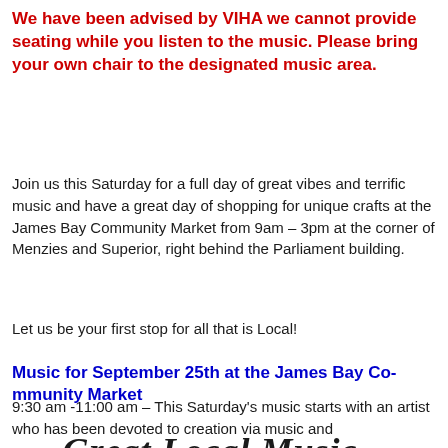We have been advised by VIHA we cannot provide seating while you listen to the music. Please bring your own chair to the designated music area.
Join us this Saturday for a full day of great vibes and terrific music and have a great day of shopping for unique crafts at the James Bay Community Market from 9am – 3pm at the corner of Menzies and Superior, right behind the Parliament building.
Let us be your first stop for all that is Local!
Music for September 25th at the James Bay Community Market
9:30 am -11:00 am – This Saturday's music starts with an artist who has been devoted to creation via music and
Great Local Music